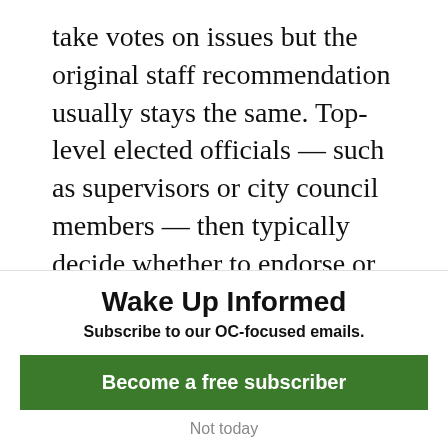take votes on issues but the original staff recommendation usually stays the same. Top-level elected officials — such as supervisors or city council members — then typically decide whether to endorse or reject the suggestions of their staff and advisory panels.
The beach concession was scheduled to be debated by the supervisors last month. But Moorlach delayed the item, asking County
Wake Up Informed
Subscribe to our OC-focused emails.
Become a free subscriber
Not today